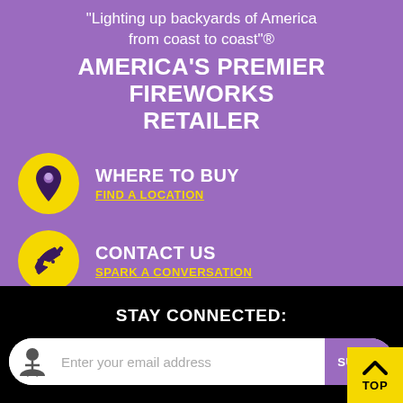"Lighting up backyards of America from coast to coast"®
AMERICA'S PREMIER FIREWORKS RETAILER
WHERE TO BUY — FIND A LOCATION
CONTACT US — SPARK A CONVERSATION
STAY CONNECTED:
Enter your email address  SUBSCRIBE